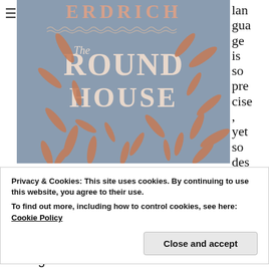[Figure (photo): Book cover of 'The Round House' by Louise Erdrich, showing the title in white serif text on a blue-gray background with abstract rust/copper colored shapes that resemble wood pieces or bones scattered across the cover.]
lan
gua
ge
is
so
pre
cise
,
yet
so
des
cri
Privacy & Cookies: This site uses cookies. By continuing to use this website, you agree to their use.
To find out more, including how to control cookies, see here: Cookie Policy
Close and accept
boyhood friendships and the power of a loving